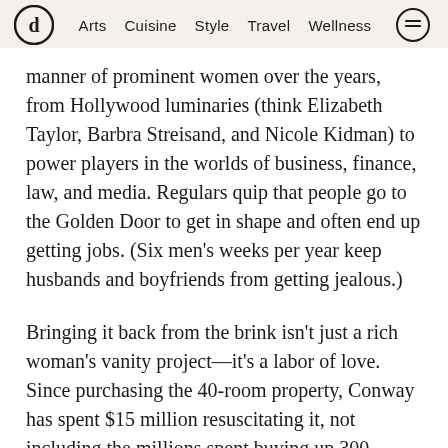Arts  Cuisine  Style  Travel  Wellness
manner of prominent women over the years, from Hollywood luminaries (think Elizabeth Taylor, Barbra Streisand, and Nicole Kidman) to power players in the worlds of business, finance, law, and media. Regulars quip that people go to the Golden Door to get in shape and often end up getting jobs. (Six men's weeks per year keep husbands and boyfriends from getting jealous.)
Bringing it back from the brink isn't just a rich woman's vanity project—it's a labor of love. Since purchasing the 40-room property, Conway has spent $15 million resuscitating it, not including the millions spent buying up 300 adjacent acres as a buffer against encroaching development. As her new chief operating officer,